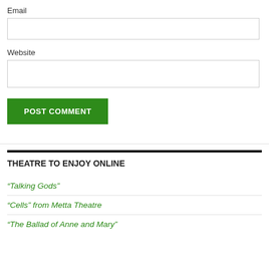Email
[Figure (other): Empty email input text field]
Website
[Figure (other): Empty website input text field]
POST COMMENT
THEATRE TO ENJOY ONLINE
“Talking Gods”
“Cells” from Metta Theatre
“The Ballad of Anne and Mary”